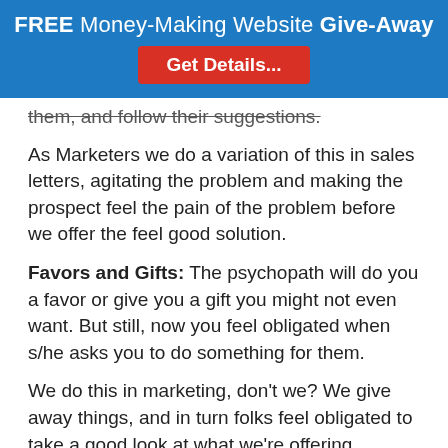[Figure (infographic): Blue banner with white text: FREE Money-Making Website Give-Away, and a red button: Get Details...]
them, and follow their suggestions.
As Marketers we do a variation of this in sales letters, agitating the problem and making the prospect feel the pain of the problem before we offer the feel good solution.
Favors and Gifts: The psychopath will do you a favor or give you a gift you might not even want. But still, now you feel obligated when s/he asks you to do something for them.
We do this in marketing, don't we? We give away things, and in turn folks feel obligated to take a good look at what we're offering.
False Intimacy: They'll pretend to be interested in everything about you – your hobbies and interests, the kinds of music you like, your job, your family and so forth. Then they'll tell you fake secrets to create an even deeper intimacy, at which point you'll